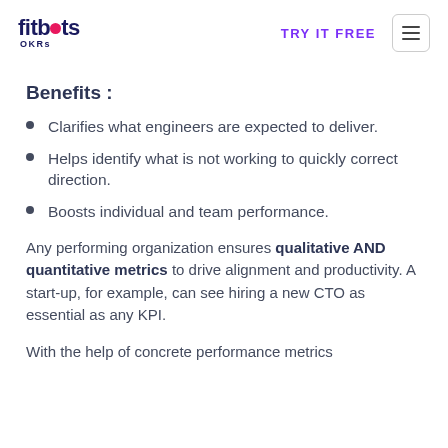fitbots OKRs | TRY IT FREE | ☰
Benefits :
Clarifies what engineers are expected to deliver.
Helps identify what is not working to quickly correct direction.
Boosts individual and team performance.
Any performing organization ensures qualitative AND quantitative metrics to drive alignment and productivity. A start-up, for example, can see hiring a new CTO as essential as any KPI.
With the help of concrete performance metrics